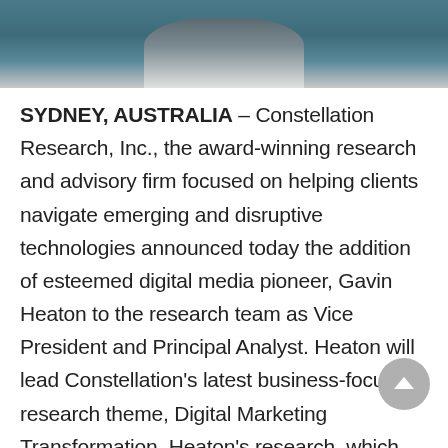[Figure (photo): Partial photo of a person wearing a denim jacket, cropped to show collar and upper chest area against a grey background.]
SYDNEY, AUSTRALIA – Constellation Research, Inc., the award-winning research and advisory firm focused on helping clients navigate emerging and disruptive technologies announced today the addition of esteemed digital media pioneer, Gavin Heaton to the research team as Vice President and Principal Analyst. Heaton will lead Constellation's latest business-focused research theme, Digital Marketing Transformation. Heaton's research, which focuses on the changing role and expectations of CMOs, the fusion of marketing channels and change-driven marketing innovation, expands Constellation's ability to provide digital marketing research and advisory